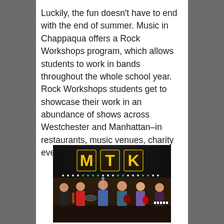Luckily, the fun doesn't have to end with the end of summer. Music in Chappaqua offers a Rock Workshops program, which allows students to work in bands throughout the whole school year. Rock Workshops students get to showcase their work in an abundance of shows across Westchester and Manhattan–in restaurants, music venues, charity events and more.
[Figure (photo): Young teenage girls performing on stage at a music venue called MTK. Large illuminated letters 'MTK' visible in the background. Band members playing guitar, singing into microphone, and playing keyboard on a dark stage with stage lighting.]